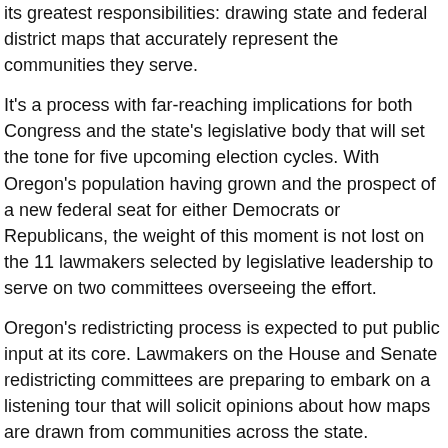its greatest responsibilities: drawing state and federal district maps that accurately represent the communities they serve.
It's a process with far-reaching implications for both Congress and the state's legislative body that will set the tone for five upcoming election cycles. With Oregon's population having grown and the prospect of a new federal seat for either Democrats or Republicans, the weight of this moment is not lost on the 11 lawmakers selected by legislative leadership to serve on two committees overseeing the effort.
Oregon's redistricting process is expected to put public input at its core. Lawmakers on the House and Senate redistricting committees are preparing to embark on a listening tour that will solicit opinions about how maps are drawn from communities across the state.
Whether the resurgence of COVID-19 and the delta variant force those meetings scheduled for the first few weeks in September to outdoor or virtual settings is yet to be determined, but the Legislature announced that constituents are being vigorously encouraged by both Democrats and Republicans to chime in at public hearings scheduled to begin Sept. 8.